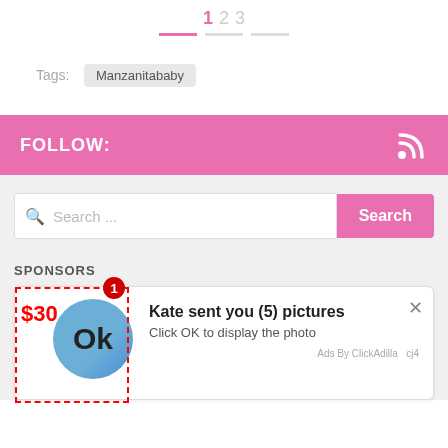1 2 3
Tags: Manzanitababy
FOLLOW:
Search ...
SPONSORS
[Figure (screenshot): Ad popup overlay: badge with '1', price '$30', blue circle with 'Ok', text 'Kate sent you (5) pictures — Click OK to display the photo', close button, Ads By ClickAdilla label, red bar chart fragments in background]